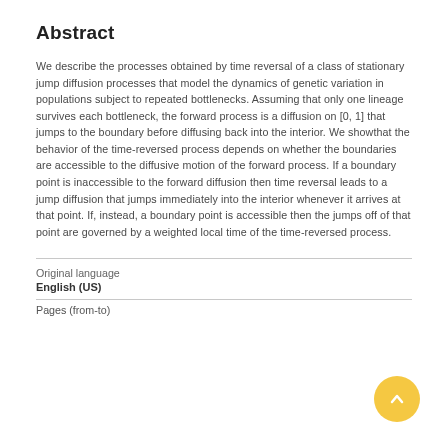Abstract
We describe the processes obtained by time reversal of a class of stationary jump diffusion processes that model the dynamics of genetic variation in populations subject to repeated bottlenecks. Assuming that only one lineage survives each bottleneck, the forward process is a diffusion on [0, 1] that jumps to the boundary before diffusing back into the interior. We showthat the behavior of the time-reversed process depends on whether the boundaries are accessible to the diffusive motion of the forward process. If a boundary point is inaccessible to the forward diffusion then time reversal leads to a jump diffusion that jumps immediately into the interior whenever it arrives at that point. If, instead, a boundary point is accessible then the jumps off of that point are governed by a weighted local time of the time-reversed process.
Original language
English (US)
Pages (from-to)